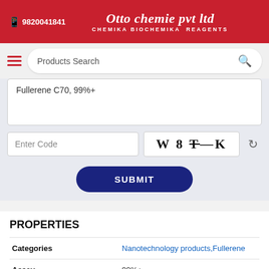9820041841 | Otto chemie pvt ltd | CHEMIKA BIOCHEMIKA REAGENTS
Products Search
Fullerene C70, 99%+
Enter Code | W8TK | SUBMIT
PROPERTIES
| Property | Value |
| --- | --- |
| Categories | Nanotechnology products,Fullerene |
| Assay | 99%+ |
| Appearance (Colour) | Black |